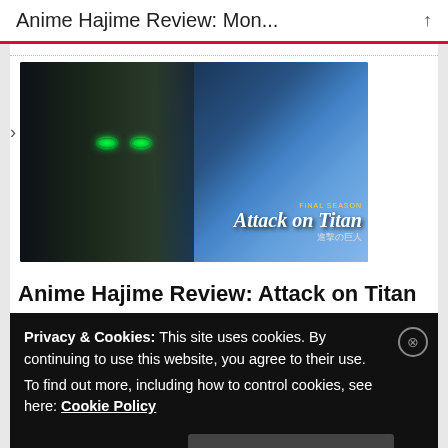Anime Hajime Review: Mon...
[Figure (screenshot): Attack on Titan Final Season Part 2 promotional image showing an anime character with glowing green eyes on the left half and a collage of characters on the right half with the text 'FINAL SEASON Attack on Titan 進撃の巨人']
Anime Hajime Review: Attack on Titan The Final Season Part 2
Privacy & Cookies: This site uses cookies. By continuing to use this website, you agree to their use.
To find out more, including how to control cookies, see here: Cookie Policy
Close and accept